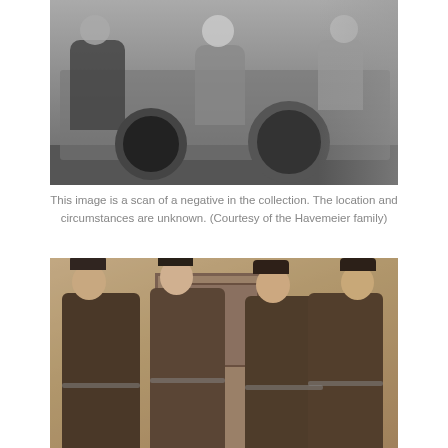[Figure (photo): Black and white photograph showing soldiers near a military vehicle with large wheels. Multiple people visible, one seated on the vehicle on the left, two in the center, and one standing on the right side.]
This image is a scan of a negative in the collection. The location and circumstances are unknown. (Courtesy of the Havemeier family)
[Figure (photo): Sepia-toned photograph of four soldiers in uniform standing together in front of a building with a door visible behind them. All are wearing military jackets and caps.]